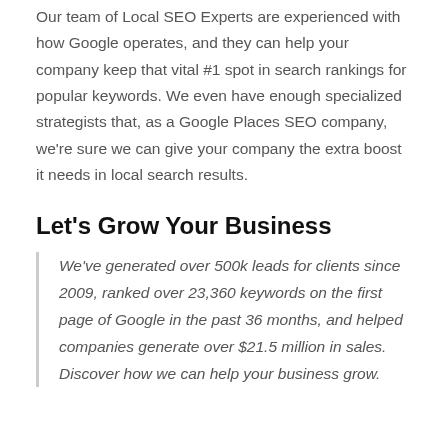Our team of Local SEO Experts are experienced with how Google operates, and they can help your company keep that vital #1 spot in search rankings for popular keywords. We even have enough specialized strategists that, as a Google Places SEO company, we're sure we can give your company the extra boost it needs in local search results.
Let's Grow Your Business
We've generated over 500k leads for clients since 2009, ranked over 23,360 keywords on the first page of Google in the past 36 months, and helped companies generate over $21.5 million in sales. Discover how we can help your business grow.